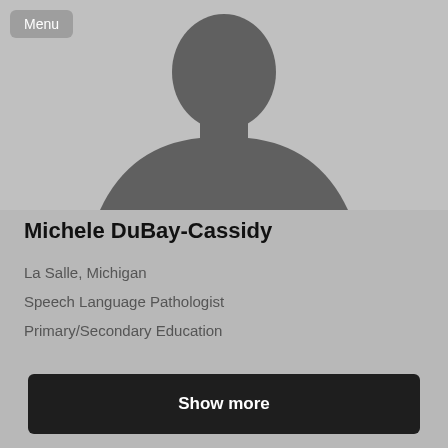[Figure (photo): Default silhouette profile photo placeholder showing a gray person outline on a gray background]
Menu
Michele DuBay-Cassidy
La Salle, Michigan
Speech Language Pathologist
Primary/Secondary Education
Show more